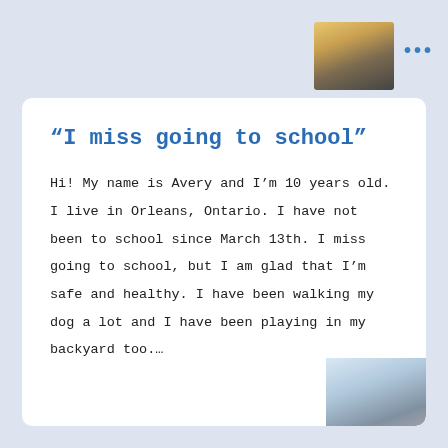[Figure (photo): Partial photo visible in top-right corner of the page header area, showing what appears to be food or an object in warm yellow/brown tones]
“I miss going to school”
Hi! My name is Avery and I’m 10 years old. I live in Orleans, Ontario. I have not been to school since March 13th. I miss going to school, but I am glad that I’m safe and healthy. I have been walking my dog a lot and I have been playing in my backyard too.…
[Figure (photo): Partial photo visible in bottom-right corner of the card, showing what appears to be a light-colored surface or object in blue-grey tones]